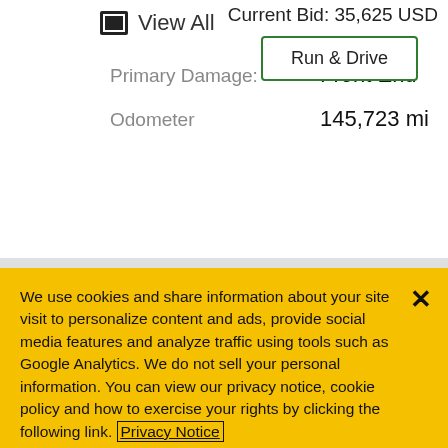Current Bid: 35,625 USD
View All
Run & Drive
Primary Damage: Front End
Odometer 145,723 mi
We use cookies and share information about your site visit to personalize content and ads, provide social media features and analyze traffic using tools such as Google Analytics. We do not sell your personal information. You can view our privacy notice, cookie policy and how to exercise your rights by clicking the following link. Privacy Notice
Cookie Settings
Reject All
Accept Cookies